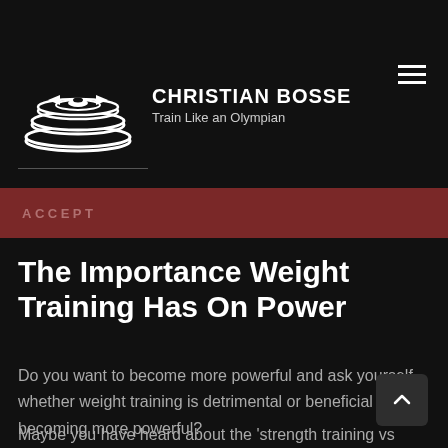[Figure (logo): Christian Bosse logo with weight plates icon and text 'CHRISTIAN BOSSE Train Like an Olympian']
ACCEPT
The Importance Weight Training Has On Power
Do you want to become more powerful and ask yourself whether weight training is detrimental or beneficial to becoming more powerful?
Maybe you have heard about the 'strength training vs